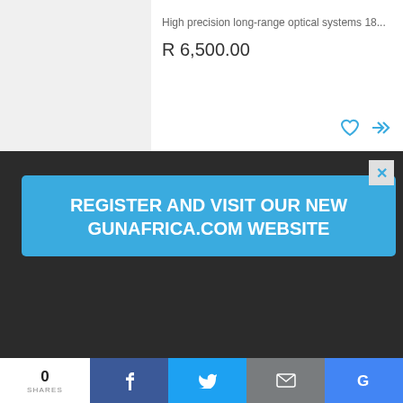High precision long-range optical systems 18...
R 6,500.00
[Figure (screenshot): Modal popup overlay with blue banner reading REGISTER AND VISIT OUR NEW GUNAFRICA.COM WEBSITE with close button]
[Figure (photo): Product photo of EAW mounts/rings for CZ 550 or CZ 602, image badge showing 3]
Mounts/Rings, EAW mounts for CZ 550 or CZ 602 (swing off). 30mm...
EAW mounts for CZ 550 or CZ 602 (swing off),...
R 6,500.00
0 SHARES